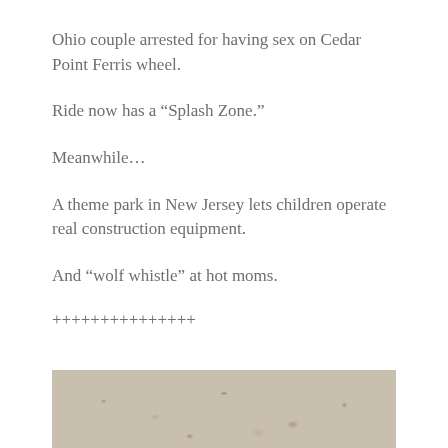Ohio couple arrested for having sex on Cedar Point Ferris wheel.
Ride now has a “Splash Zone.”
Meanwhile…
A theme park in New Jersey lets children operate real construction equipment.
And “wolf whistle” at hot moms.
+++++++++++++++
[Figure (photo): Partial view of a sandy or gravelly ground surface texture, light beige/tan tones.]